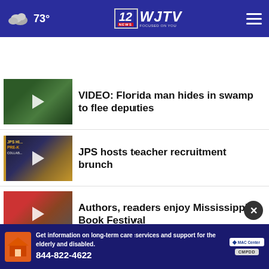73° | WJTV 12 News Focused On You
VIDEO: Florida man hides in swamp to flee deputies
JPS hosts teacher recruitment brunch
Authors, readers enjoy Mississippi Book Festival
VA Medical Center to host food pantries
UMMC gives free evaluations to retired NFL players
Get information on long-term care services and support for the elderly and disabled. 844-822-4622